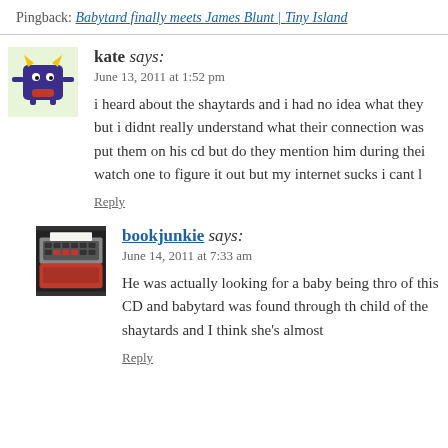Pingback: Babytard finally meets James Blunt | Tiny Island
kate says:
June 13, 2011 at 1:52 pm
i heard about the shaytards and i had no idea what they but i didnt really understand what their connection was put them on his cd but do they mention him during thei watch one to figure it out but my internet sucks i cant l
Reply
bookjunkie says:
June 14, 2011 at 7:33 am
He was actually looking for a baby being thro of this CD and babytard was found through th child of the shaytards and I think she's almost
Reply